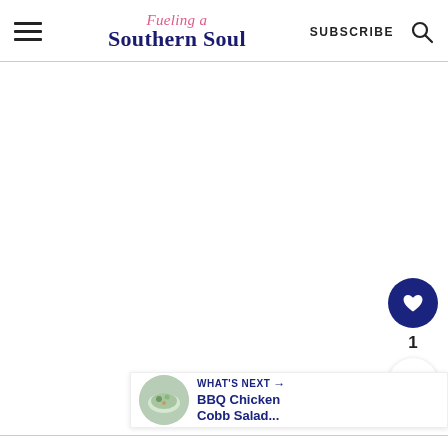Fueling a Southern Soul — SUBSCRIBE
[Figure (screenshot): Large white/blank content area in the main body of a recipe blog page]
[Figure (infographic): Floating action buttons: heart (favorite) button with count 1, and share button]
1
[Figure (infographic): What's Next bar showing BBQ Chicken Cobb Salad... with a thumbnail image of a salad bowl]
WHAT'S NEXT → BBQ Chicken Cobb Salad...